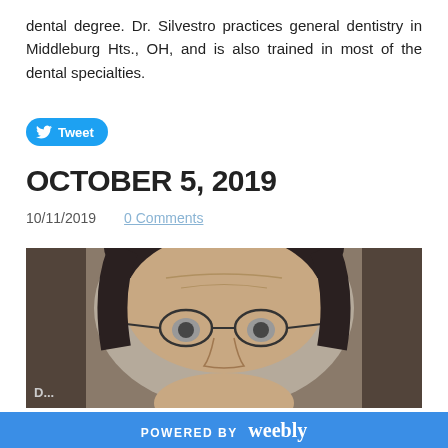dental degree. Dr. Silvestro practices general dentistry in Middleburg Hts., OH, and is also trained in most of the dental specialties.
Tweet
OCTOBER 5, 2019
10/11/2019    0 Comments
[Figure (photo): Close-up photo of a middle-aged man with glasses and dark hair, partially visible at bottom]
POWERED BY weebly